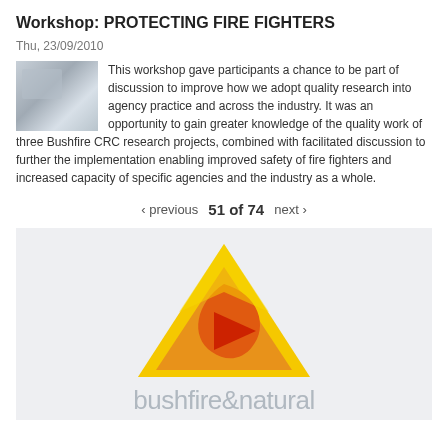Workshop: PROTECTING FIRE FIGHTERS
Thu, 23/09/2010
This workshop gave participants a chance to be part of discussion to improve how we adopt quality research into agency practice and across the industry. It was an opportunity to gain greater knowledge of the quality work of three Bushfire CRC research projects, combined with facilitated discussion to further the implementation enabling improved safety of fire fighters and increased capacity of specific agencies and the industry as a whole.
‹ previous   51 of 74   next ›
[Figure (logo): Bushfire & Natural Hazards CRC logo — a yellow triangle shape with orange and red inner shapes, above the text 'bushfire&natural']